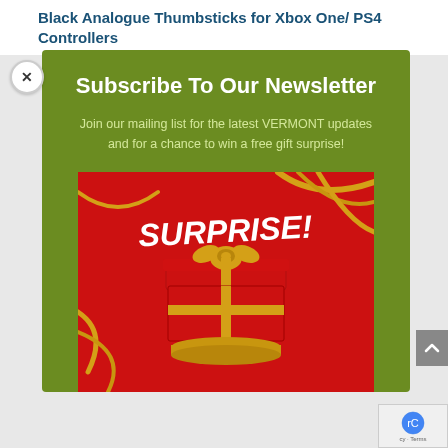Black Analogue Thumbsticks for Xbox One/ PS4 Controllers
Subscribe To Our Newsletter
Join our mailing list for the latest VERMONT updates and for a chance to win a free gift surprise!
[Figure (illustration): Red gift box with golden bow opening with 'SURPRISE!' text and 'GIFT!' text on red background with golden ribbons]